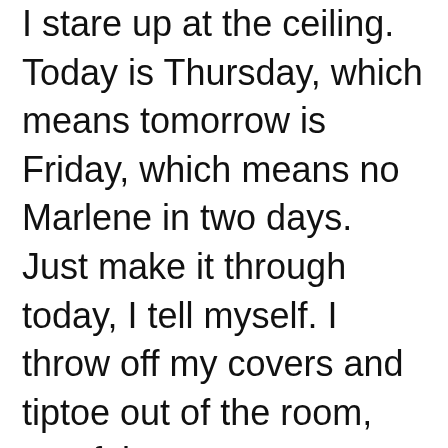I stare up at the ceiling. Today is Thursday, which means tomorrow is Friday, which means no Marlene in two days. Just make it through today, I tell myself. I throw off my covers and tiptoe out of the room, careful not to